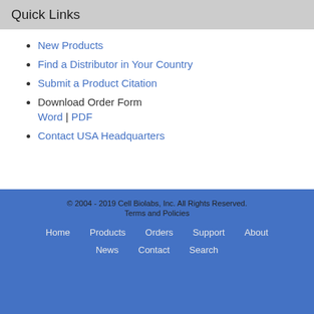Quick Links
New Products
Find a Distributor in Your Country
Submit a Product Citation
Download Order Form Word | PDF
Contact USA Headquarters
© 2004 - 2019 Cell Biolabs, Inc. All Rights Reserved. Terms and Policies Home Products Orders Support About News Contact Search